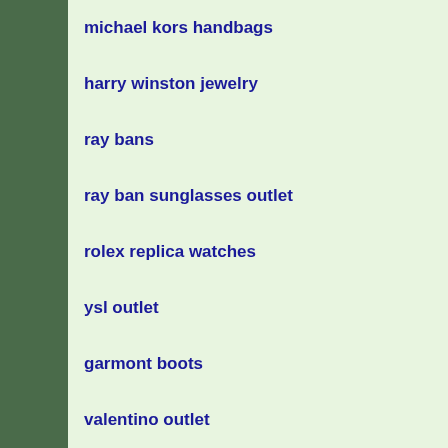michael kors handbags
harry winston jewelry
ray bans
ray ban sunglasses outlet
rolex replica watches
ysl outlet
garmont boots
valentino outlet